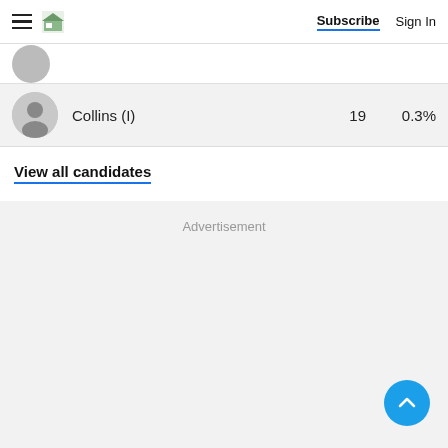Subscribe  Sign In
Collins (I)   19   0.3%
View all candidates
Advertisement